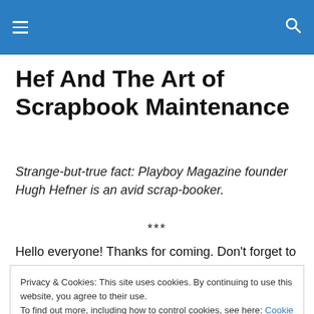Hef And The Art of Scrapbook Maintenance
Strange-but-true fact:  Playboy Magazine founder Hugh Hefner is an avid scrap-booker.
***
Hello everyone!  Thanks for coming.  Don't forget to grab
Privacy & Cookies: This site uses cookies. By continuing to use this website, you agree to their use.
To find out more, including how to control cookies, see here: Cookie Policy
Close and accept
[Figure (photo): Partial bottom image, appears to show a book or scrapbook]